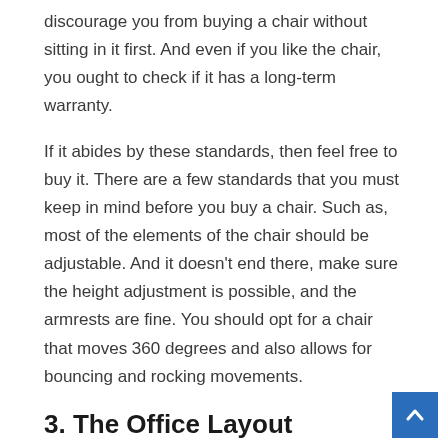discourage you from buying a chair without sitting in it first. And even if you like the chair, you ought to check if it has a long-term warranty.
If it abides by these standards, then feel free to buy it. There are a few standards that you must keep in mind before you buy a chair. Such as, most of the elements of the chair should be adjustable. And it doesn't end there, make sure the height adjustment is possible, and the armrests are fine. You should opt for a chair that moves 360 degrees and also allows for bouncing and rocking movements.
3. The Office Layout
Transitioning from an office to a home office is a difficult